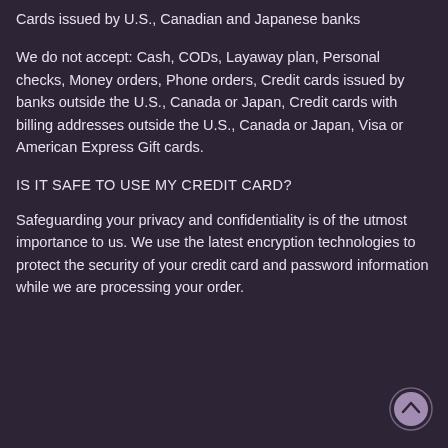Cards issued by U.S., Canadian and Japanese banks
We do not accept: Cash, CODs, Layaway plan, Personal checks, Money orders, Phone orders, Credit cards issued by banks outside the U.S., Canada or Japan, Credit cards with billing addresses outside the U.S., Canada or Japan, Visa or American Express Gift cards.
IS IT SAFE TO USE MY CREDIT CARD?
Safeguarding your privacy and confidentiality is of the utmost importance to us. We use the latest encryption technologies to protect the security of your credit card and password information while we are processing your order.